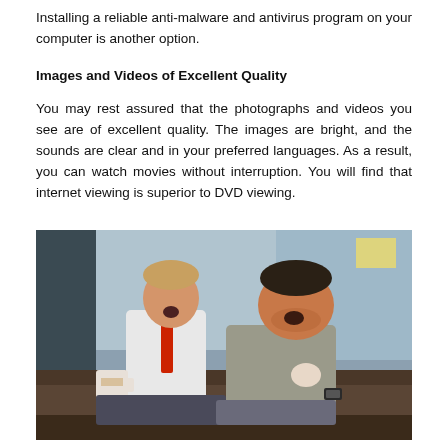Installing a reliable anti-malware and antivirus program on your computer is another option.
Images and Videos of Excellent Quality
You may rest assured that the photographs and videos you see are of excellent quality. The images are bright, and the sounds are clear and in your preferred languages. As a result, you can watch movies without interruption. You will find that internet viewing is superior to DVD viewing.
[Figure (photo): Two men sitting on a couch watching something, one in a white shirt with red tie holding a mug, the other in a grey t-shirt looking upward with mouth open.]